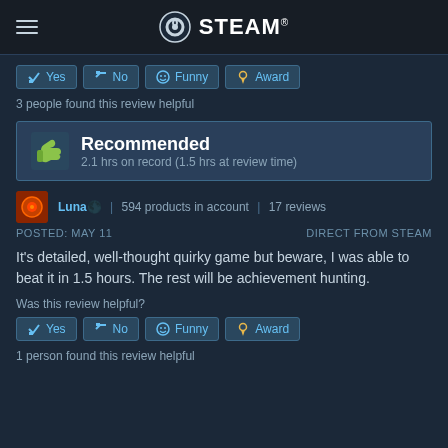STEAM
3 people found this review helpful
Recommended
2.1 hrs on record (1.5 hrs at review time)
Luna🌑 | 594 products in account | 17 reviews
POSTED: MAY 11   DIRECT FROM STEAM
It's detailed, well-thought quirky game but beware, I was able to beat it in 1.5 hours. The rest will be achievement hunting.
Was this review helpful?
1 person found this review helpful